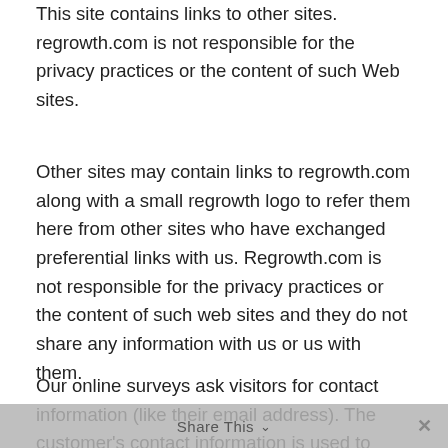This site contains links to other sites. regrowth.com is not responsible for the privacy practices or the content of such Web sites.
Other sites may contain links to regrowth.com along with a small regrowth logo to refer them here from other sites who have exchanged preferential links with us. Regrowth.com is not responsible for the privacy practices or the content of such web sites and they do not share any information with us or us with them.
Our online surveys ask visitors for contact information (like their email address). The customer's contact information is used to contact the visitor when necessary. Users may opt-out of receiving future mailings; see the choice/opt-out section below.
Share This ∨  ×